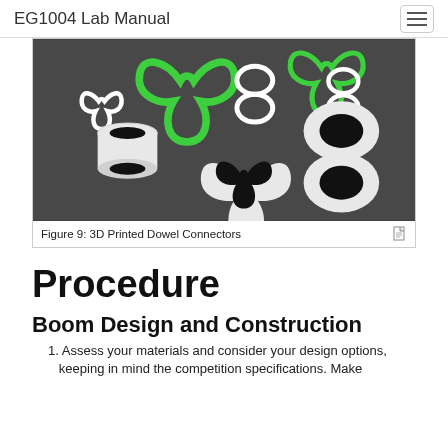EG1004 Lab Manual
[Figure (photo): Photo of multiple 3D printed dowel connectors in white and one in green, on a dark background. Various shapes including trefoil and figure-8 connectors, some with hollow cross-sections.]
Figure 9: 3D Printed Dowel Connectors
Procedure
Boom Design and Construction
1. Assess your materials and consider your design options, keeping in mind the competition specifications. Make